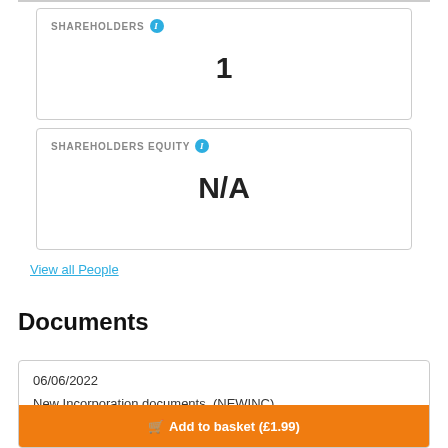SHAREHOLDERS
1
SHAREHOLDERS EQUITY
N/A
View all People
Documents
06/06/2022
New Incorporation documents. (NEWINC)
Add to basket (£1.99)